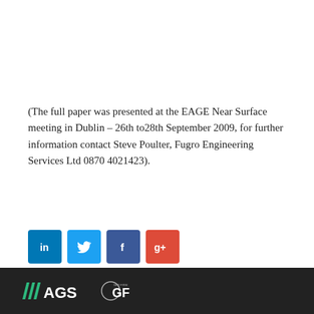(The full paper was presented at the EAGE Near Surface meeting in Dublin – 26th to28th September 2009, for further information contact Steve Poulter, Fugro Engineering Services Ltd 0870 4021423).
[Figure (other): Social media sharing icons: LinkedIn (blue), Twitter (light blue), Facebook (dark blue), Google+ (red)]
AGS GF logos on dark background footer